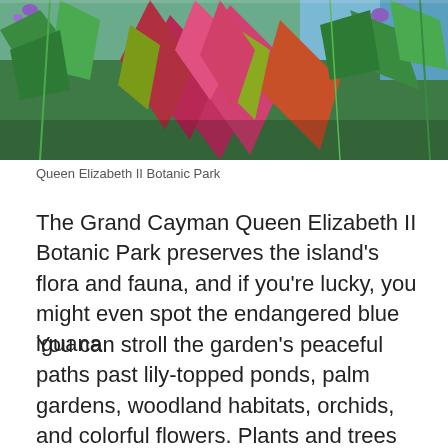[Figure (photo): Colorful tropical plants with large red-pink and green leaves, plus small purple flowers, in a lush garden setting at Queen Elizabeth II Botanic Park.]
Queen Elizabeth II Botanic Park
The Grand Cayman Queen Elizabeth II Botanic Park preserves the island's flora and fauna, and if you're lucky, you might even spot the endangered blue iguana.
You can stroll the garden's peaceful paths past lily-topped ponds, palm gardens, woodland habitats, orchids, and colorful flowers. Plants and trees are labeled, and benches beckon from shady nooks.